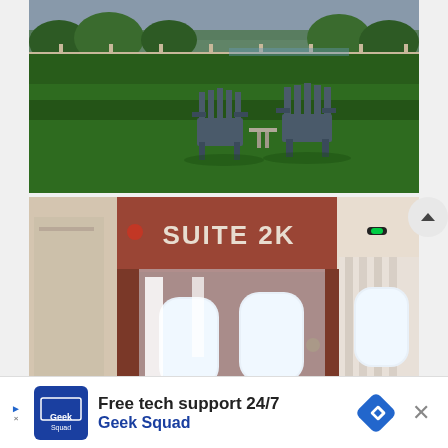[Figure (photo): Outdoor scene with a green lawn, two Adirondack-style chairs and a small side table in the center, with trees and a fence visible in the background under a cloudy sky.]
[Figure (photo): Interior of an airplane or train suite labeled 'SUITE 2K' on a red/brown door frame with a green indicator light. White curtained windows visible inside through glass sliding doors.]
Free tech support 24/7
Geek Squad